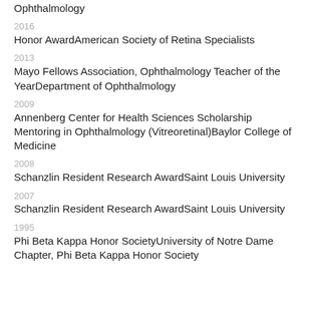Association for Research in Vision and Ophthalmology
2016
Honor AwardAmerican Society of Retina Specialists
2013
Mayo Fellows Association, Ophthalmology Teacher of the YearDepartment of Ophthalmology
2009
Annenberg Center for Health Sciences Scholarship Mentoring in Ophthalmology (Vitreoretinal)Baylor College of Medicine
2008
Schanzlin Resident Research AwardSaint Louis University
2007
Schanzlin Resident Research AwardSaint Louis University
1995
Phi Beta Kappa Honor SocietyUniversity of Notre Dame Chapter, Phi Beta Kappa Honor Society